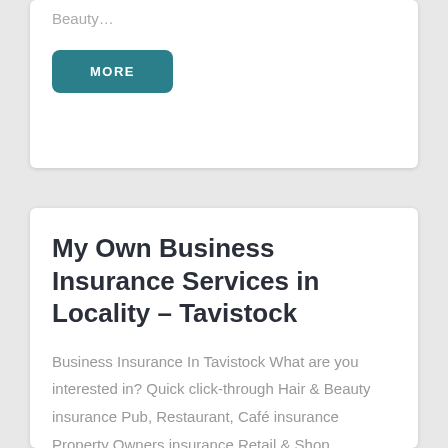Beauty…
MORE
My Own Business Insurance Services in Locality – Tavistock
Business Insurance In Tavistock What are you interested in? Quick click-through Hair & Beauty insurance Pub, Restaurant, Café insurance Property Owners insurance Retail & Shop insurance Manufacturing insurance Distribution insurance Fleet insurance Hair &